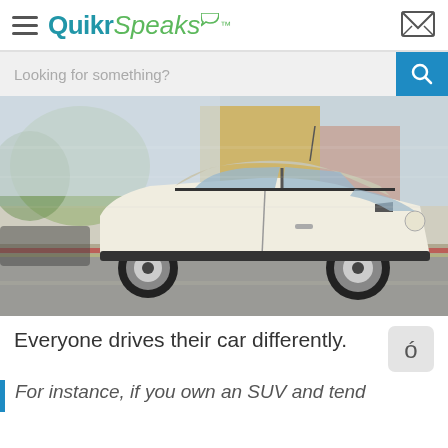QuikrSpeaks
Looking for something?
[Figure (photo): A white Mini Cooper car driving on a street with motion-blurred background showing buildings and trees]
Everyone drives their car differently.
For instance, if you own an SUV and tend